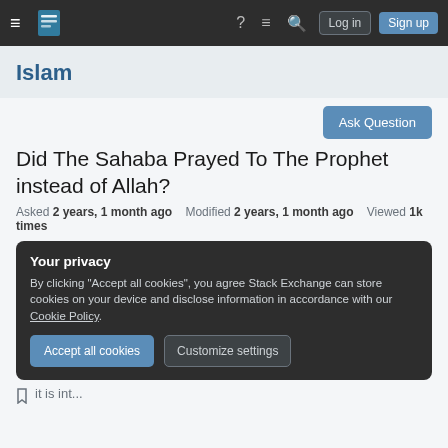Islam Stack Exchange navigation bar with hamburger menu, logo, help, chat, search icons, Log in and Sign up buttons
Islam
Did The Sahaba Prayed To The Prophet instead of Allah?
Asked 2 years, 1 month ago   Modified 2 years, 1 month ago   Viewed 1k times
Your privacy
By clicking "Accept all cookies", you agree Stack Exchange can store cookies on your device and disclose information in accordance with our Cookie Policy.
Accept all cookies   Customize settings
it is int...